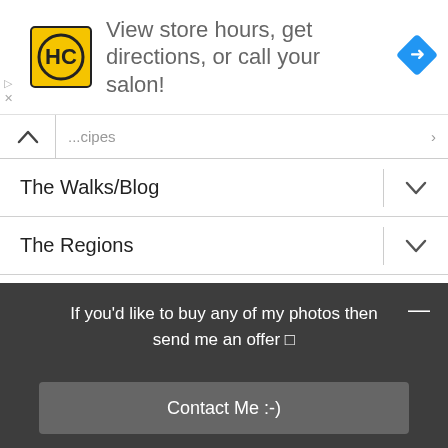[Figure (screenshot): Advertisement banner with HC Salon logo (yellow square), text 'View store hours, get directions, or call your salon!', and blue diamond navigation arrow icon on the right. Small play and close controls on the left.]
The Walks/Blog
The Regions
Articles & Resources
Search ...
If you'd like to buy any of my photos then send me an offer 🔲
Contact Me :-)